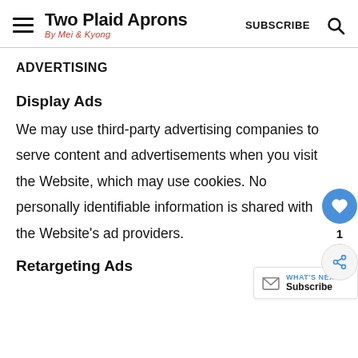Two Plaid Aprons — By Mei & Kyong — SUBSCRIBE
ADVERTISING
Display Ads
We may use third-party advertising companies to serve content and advertisements when you visit the Website, which may use cookies. No personally identifiable information is shared with the Website's ad providers.
Retargeting Ads